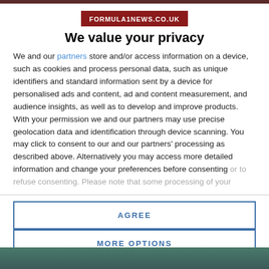[Figure (logo): FORMULA1NEWS.CO.UK logo in dark red/maroon rectangle with white text]
We value your privacy
We and our partners store and/or access information on a device, such as cookies and process personal data, such as unique identifiers and standard information sent by a device for personalised ads and content, ad and content measurement, and audience insights, as well as to develop and improve products. With your permission we and our partners may use precise geolocation data and identification through device scanning. You may click to consent to our and our partners' processing as described above. Alternatively you may access more detailed information and change your preferences before consenting or to refuse consenting. Please note that some processing of your
AGREE
MORE OPTIONS